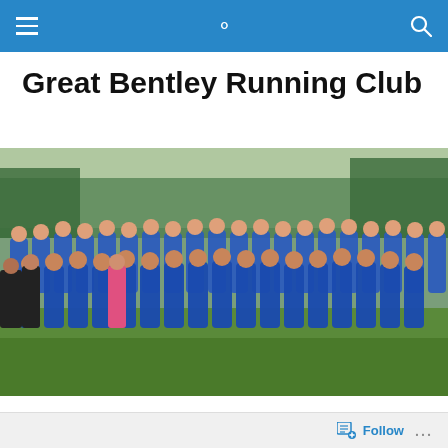Great Bentley Running Club — navigation bar
Great Bentley Running Club
[Figure (photo): Large group photo of Great Bentley Running Club members, mostly wearing blue club vests, posing outdoors on grass with trees in the background.]
LADIES’ NEWSLETTER – DECEMBER
Posted by MagsKom
Follow …